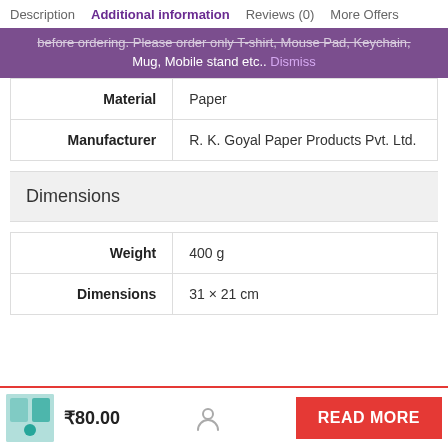Description   Additional information   Reviews (0)   More Offers
before ordering. Please order only T-shirt, Mouse Pad, Keychain, Mug, Mobile stand etc.. Dismiss
| Material | Paper |
| Manufacturer | R. K. Goyal Paper Products Pvt. Ltd. |
Dimensions
| Weight | 400 g |
| Dimensions | 31 × 21 cm |
₹80.00   READ MORE